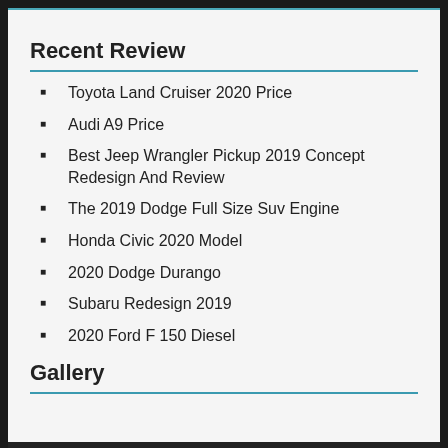Recent Review
Toyota Land Cruiser 2020 Price
Audi A9 Price
Best Jeep Wrangler Pickup 2019 Concept Redesign And Review
The 2019 Dodge Full Size Suv Engine
Honda Civic 2020 Model
2020 Dodge Durango
Subaru Redesign 2019
2020 Ford F 150 Diesel
Gallery